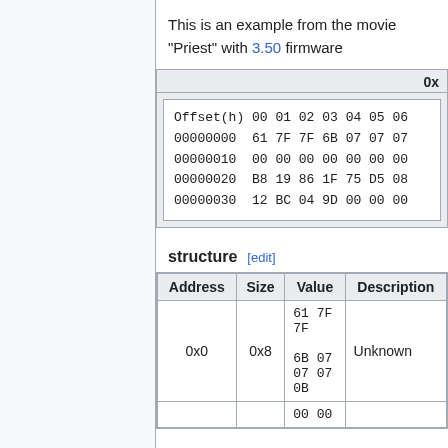This is an example from the movie "Priest" with 3.50 firmware
| 0x... |
| --- |
| Offset(h)  00 01 02 03 04 05 06 |
| 00000000   61 7F 7F 6B 07 07 07 |
| 00000010   00 00 00 00 00 00 00 |
| 00000020   B8 19 86 1F 75 D5 08 |
| 00000030   12 BC 04 9D 00 00 00 |
structure [edit]
| Address | Size | Value | Description |
| --- | --- | --- | --- |
| 0x0 | 0x8 | 61 7F 7F
6B 07
07 07
0B | Unknown |
|  |  | 00 00 |  |